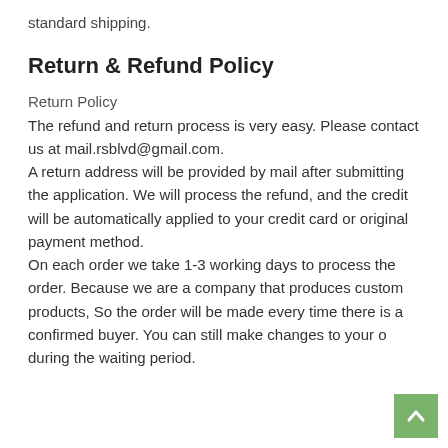standard shipping.
Return & Refund Policy
Return Policy
The refund and return process is very easy. Please contact us at mail.rsblvd@gmail.com.
A return address will be provided by mail after submitting the application. We will process the refund, and the credit will be automatically applied to your credit card or original payment method.
On each order we take 1-3 working days to process the order. Because we are a company that produces custom products, So the order will be made every time there is a confirmed buyer. You can still make changes to your o during the waiting period.